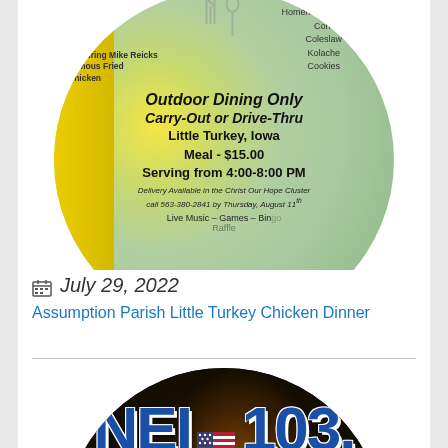[Figure (illustration): Circular green/yellow flyer for Assumption Parish Little Turkey Chicken Dinner showing menu items, outdoor dining only, carry-out or drive-thru, Little Turkey Iowa, Meal $15.00, Serving 4:00-8:00 PM, delivery information, live music games bingo raffle]
July 29, 2022
Assumption Parish Little Turkey Chicken Dinner
[Figure (logo): NEI 103 radio station logo on dark circular background with American flag graphic]